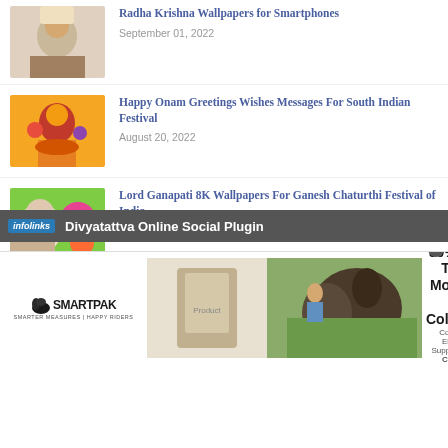[Figure (photo): Thumbnail image of Radha Krishna]
Radha Krishna Wallpapers for Smartphones
September 01, 2022
[Figure (photo): Thumbnail image of Happy Onam, colorful festival figure]
Happy Onam Greetings Wishes Messages For South Indian Festival
August 20, 2022
[Figure (photo): Thumbnail image of Lord Ganapati with flowers]
Lord Ganapati 8K Wallpapers For Ganesh Chaturthi Festival of India
August 09, 2022
[Figure (photo): Thumbnail image of Full HD Krishna Wallpaper]
Full HD Krishna Wallpaper 3D Beautiful Janmashtami Images For Computer and Smartphones
August 07, 2022
infolinks — Divyatattva Online Social Plugin
[Figure (photo): SmartPak advertisement — 50% Off Two Months of ColiCare, ColiCare Eligible Supplements, CODE: COLICARE10, Shop Now]